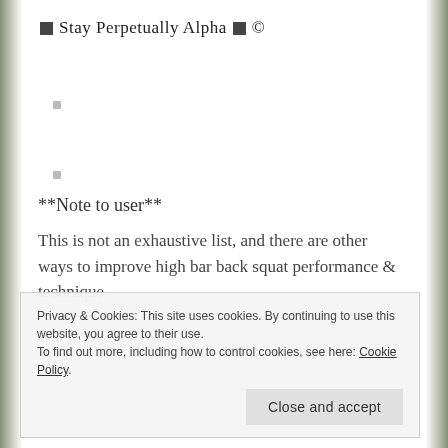■ Stay Perpetually Alpha ■ ©
**Note to user**
This is not an exhaustive list, and there are other ways to improve high bar back squat performance & technique.
Privacy & Cookies: This site uses cookies. By continuing to use this website, you agree to their use. To find out more, including how to control cookies, see here: Cookie Policy